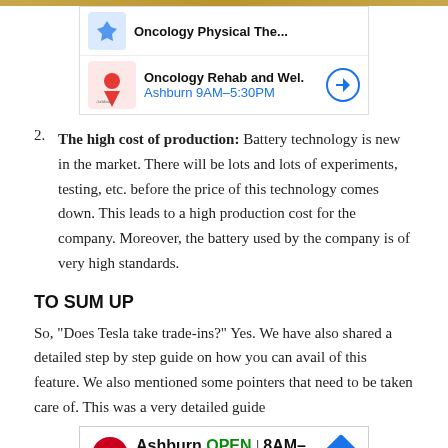[Figure (screenshot): Ad banner showing Oncology Physical Therapy and Oncology Rehab and Wel. with Ashburn 9AM-5:30PM and direction arrow]
2. The high cost of production: Battery technology is new in the market. There will be lots and lots of experiments, testing, etc. before the price of this technology comes down. This leads to a high production cost for the company. Moreover, the battery used by the company is of very high standards.
TO SUM UP
So, “Does Tesla take trade-ins?” Yes. We have also shared a detailed step by step guide on how you can avail of this feature. We also mentioned some pointers that need to be taken care of. This was a very detailed guide
[Figure (screenshot): Ad banner showing Smoothie King Ashburn OPEN 8AM-8PM 20035 Ashbrook Common...]